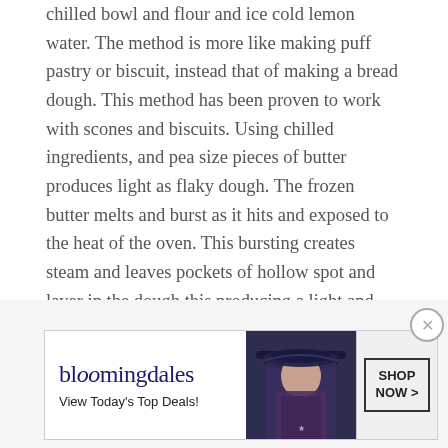chilled bowl and flour and ice cold lemon water. The method is more like making puff pastry or biscuit, instead that of making a bread dough. This method has been proven to work with scones and biscuits. Using chilled ingredients, and pea size pieces of butter produces light as flaky dough. The frozen butter melts and burst as it hits and exposed to the heat of the oven. This bursting creates steam and leaves pockets of hollow spot and layer in the dough this producing a light and flaky dough. This is something that you will not see in traditional empanada dough that are bread like and compact. When I started using this method, I never made it any other way. Don't get me wrong, traditional empanada is great, I just find this better. In the end, it is your choice. But before you say 'No' to this method, at least give it a try first. Can you do that for me, please?
[Figure (photo): Partial view of a food photo at top of advertisement area, partially cut off]
Advertisements
[Figure (photo): Bloomingdale's advertisement banner showing logo, 'View Today's Top Deals!', a woman with a large hat, and a 'SHOP NOW >' call-to-action button]